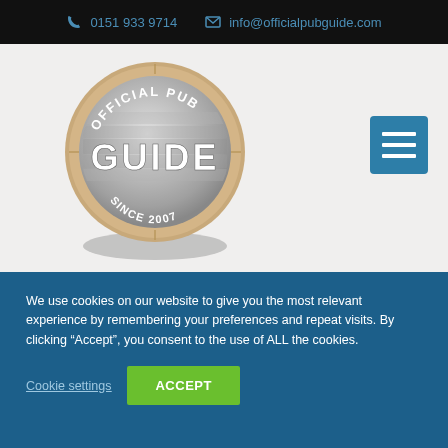📞 0151 933 9714  ✉ info@officialpubguide.com
[Figure (logo): Official Pub Guide circular badge logo with wooden frame, metallic center, text 'OFFICIAL PUB' at top, large 'GUIDE' text in center, 'SINCE 2007' at bottom]
We use cookies on our website to give you the most relevant experience by remembering your preferences and repeat visits. By clicking "Accept", you consent to the use of ALL the cookies.
Cookie settings   ACCEPT